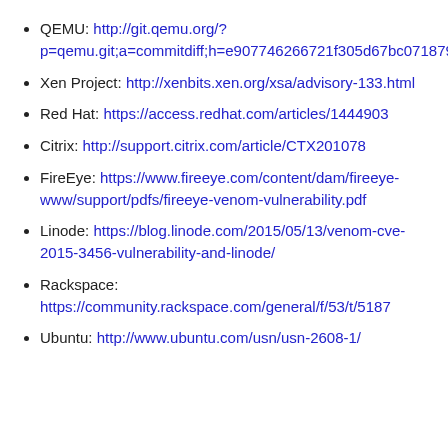QEMU: http://git.qemu.org/?p=qemu.git;a=commitdiff;h=e907746266721f305d67bc0718795fedee2e824c
Xen Project: http://xenbits.xen.org/xsa/advisory-133.html
Red Hat: https://access.redhat.com/articles/1444903
Citrix: http://support.citrix.com/article/CTX201078
FireEye: https://www.fireeye.com/content/dam/fireeye-www/support/pdfs/fireeye-venom-vulnerability.pdf
Linode: https://blog.linode.com/2015/05/13/venom-cve-2015-3456-vulnerability-and-linode/
Rackspace: https://community.rackspace.com/general/f/53/t/5187
Ubuntu: http://www.ubuntu.com/usn/usn-2608-1/